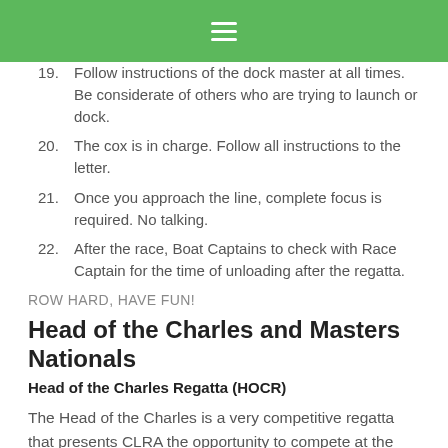≡ (hamburger menu)
19. Follow instructions of the dock master at all times. Be considerate of others who are trying to launch or dock.
20. The cox is in charge. Follow all instructions to the letter.
21. Once you approach the line, complete focus is required. No talking.
22. After the race, Boat Captains to check with Race Captain for the time of unloading after the regatta.
ROW HARD, HAVE FUN!
Head of the Charles and Masters Nationals
Head of the Charles Regatta (HOCR)
The Head of the Charles is a very competitive regatta that presents CLRA the opportunity to compete at the highest Masters level. In the rowing world, it is the equivalent of the New York or Boston marathon. It is also a tremendous amount